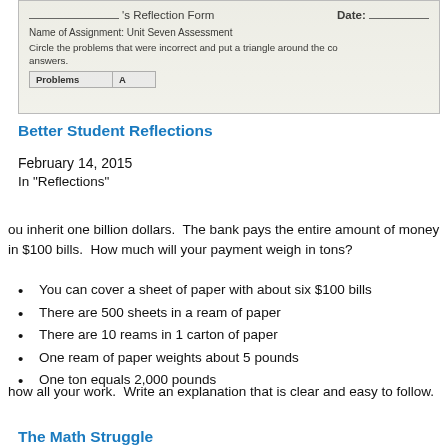[Figure (photo): Photo of a student reflection form showing 's Reflection Form', Date field, Name of Assignment: Unit Seven Assessment, instructions to circle problems that were incorrect and put a triangle around the correct answers, and a table with 'Problems' column header visible.]
Better Student Reflections
February 14, 2015
In "Reflections"
ou inherit one billion dollars.  The bank pays the entire amount of money in $100 bills.  How much will your payment weigh in tons?
You can cover a sheet of paper with about six $100 bills
There are 500 sheets in a ream of paper
There are 10 reams in 1 carton of paper
One ream of paper weights about 5 pounds
One ton equals 2,000 pounds
how all your work.  Write an explanation that is clear and easy to follow.
The Math Struggle